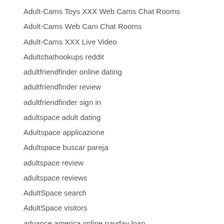Adult-Cams Toys XXX Web Cams Chat Rooms
Adult-Cams Web Cam Chat Rooms
Adult-Cams XXX Live Video
Adultchathookups reddit
adultfriendfinder online dating
adultfriendfinder review
adultfriendfinder sign in
adultspace adult dating
Adultspace applicazione
Adultspace buscar pareja
adultspace review
adultspace reviews
AdultSpace search
AdultSpace visitors
advance america online payday loan